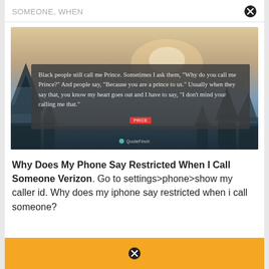SOMEONE, WHEN
[Figure (photo): A moody atmospheric photo with a hazy sky and silhouetted trees. Overlaid is a dark semi-transparent text box containing a quote: 'Black people still call me Prince. Sometimes I ask them, "Why do you call me Prince?" And people say, "Because you are a prince to us." Usually when they say that, you know my heart goes out and I have to say, "I don't mind your calling me that."' with a red author pill label below it, and a watermark at the bottom.]
Why Does My Phone Say Restricted When I Call Someone Verizon. Go to settings>phone>show my caller id. Why does my iphone say restricted when i call someone?
[Figure (photo): Bottom partial yellow/gold advertisement banner with a close button icon visible.]